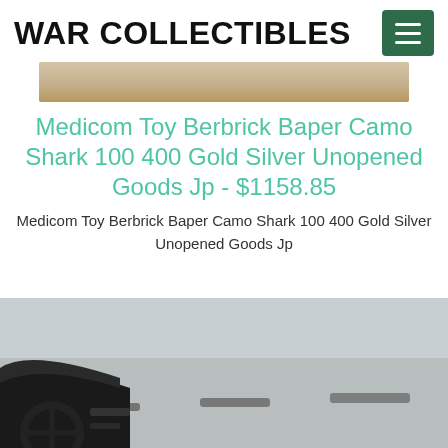WAR COLLECTIBLES
[Figure (photo): Partial product image strip showing a tan/brown background, cropped top portion of a product photo]
Medicom Toy Berbrick Baper Camo Shark 100 400 Gold Silver Unopened Goods Jp - $1158.85
Medicom Toy Berbrick Baper Camo Shark 100 400 Gold Silver Unopened Goods Jp
[Figure (photo): Dashboard view from inside a vehicle looking out at a road, with road markings visible]